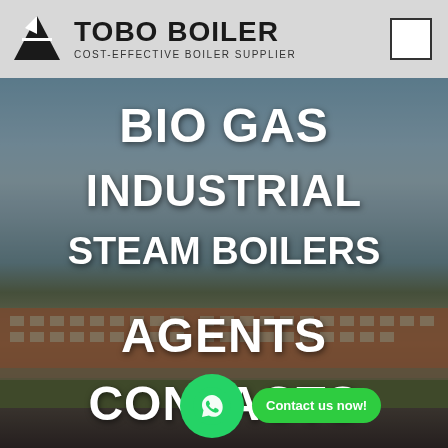[Figure (logo): TOBO BOILER logo with geometric icon and tagline COST-EFFECTIVE BOILER SUPPLIER]
[Figure (photo): Industrial building/factory exterior photo used as hero background with overlaid white bold text menu items: BIO GAS, INDUSTRIAL, STEAM BOILERS, AGENTS, CONTACTS, and a WhatsApp contact button overlay]